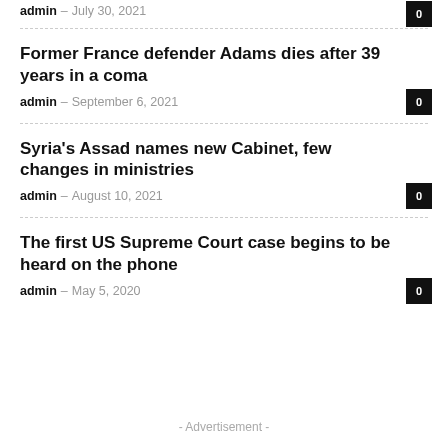admin – July 30, 2021  0
Former France defender Adams dies after 39 years in a coma
admin – September 6, 2021  0
Syria's Assad names new Cabinet, few changes in ministries
admin – August 10, 2021  0
The first US Supreme Court case begins to be heard on the phone
admin – May 5, 2020  0
- Advertisement -